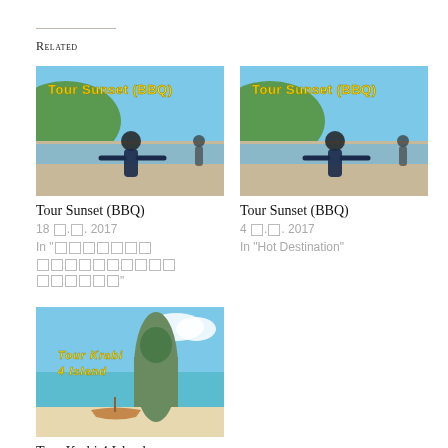Related
[Figure (photo): Tour Sunset BBQ photo showing person on beach with arms outstretched, yellow text overlay 'Tour Sunset (BBQ)']
Tour Sunset (BBQ)
18 ฿.ค. 2017
In "[Thai characters]"
[Figure (photo): Tour Sunset BBQ photo showing person on beach with arms outstretched, yellow text overlay 'Tour Sunset (BBQ)']
Tour Sunset (BBQ)
4 ฿.ค. 2017
In "Hot Destination"
[Figure (photo): Tour Krabi 4 Island photo showing tropical limestone island and longboat, yellow text overlay 'Tour Krabi 4 Island']
Tour Krabi 4 Island
10 ฿.ค. 2017
In "Krabi : [Thai characters]"